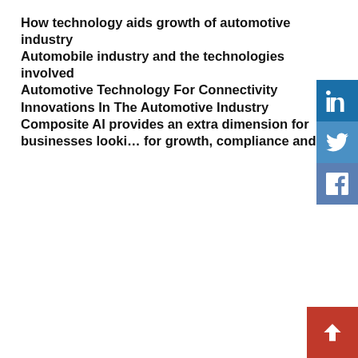How technology aids growth of automotive industry
Automobile industry and the technologies involved
Automotive Technology For Connectivity
Innovations In The Automotive Industry
Composite AI provides an extra dimension for businesses looking for growth, compliance and
[Figure (infographic): Social media share buttons: LinkedIn, Twitter, Facebook, and a red scroll-to-top arrow button]